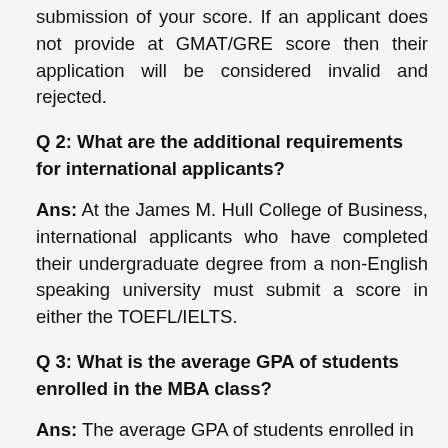submission of your score. If an applicant does not provide at GMAT/GRE score then their application will be considered invalid and rejected.
Q 2: What are the additional requirements for international applicants?
Ans: At the James M. Hull College of Business, international applicants who have completed their undergraduate degree from a non-English speaking university must submit a score in either the TOEFL/IELTS.
Q 3: What is the average GPA of students enrolled in the MBA class?
Ans: The average GPA of students enrolled in